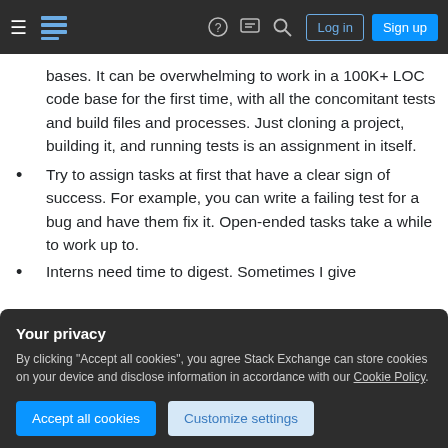Stack Exchange navigation bar with hamburger menu, logo, help, chat, search, Log in, Sign up buttons
bases. It can be overwhelming to work in a 100K+ LOC code base for the first time, with all the concomitant tests and build files and processes. Just cloning a project, building it, and running tests is an assignment in itself.
Try to assign tasks at first that have a clear sign of success. For example, you can write a failing test for a bug and have them fix it. Open-ended tasks take a while to work up to.
Interns need time to digest. Sometimes I give
Your privacy
By clicking "Accept all cookies", you agree Stack Exchange can store cookies on your device and disclose information in accordance with our Cookie Policy.
build up.